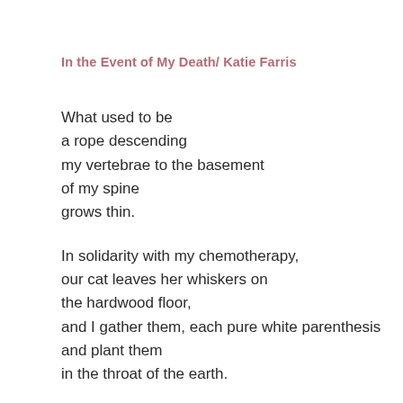In the Event of My Death/ Katie Farris
What used to be
a rope descending
my vertebrae to the basement
of my spine
grows thin.

In solidarity with my chemotherapy,
our cat leaves her whiskers on
the hardwood floor,
and I gather them, each pure white parenthesis
and plant them
in the throat of the earth.

In quarantine,
I learned to trim your barbarian